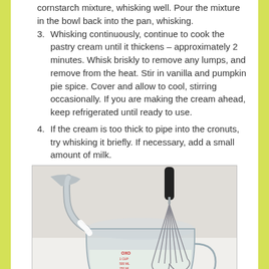cornstarch mixture, whisking well. Pour the mixture in the bowl back into the pan, whisking.
Whisking continuously, continue to cook the pastry cream until it thickens – approximately 2 minutes. Whisk briskly to remove any lumps, and remove from the heat. Stir in vanilla and pumpkin pie spice. Cover and allow to cool, stirring occasionally. If you are making the cream ahead, keep refrigerated until ready to use.
If the cream is too thick to pipe into the cronuts, try whisking it briefly. If necessary, add a small amount of milk.
[Figure (photo): A photo of a whisk resting in a glass measuring cup containing a pale liquid (cream/milk mixture), with a metal saucepan pouring liquid into the cup, on a white surface.]